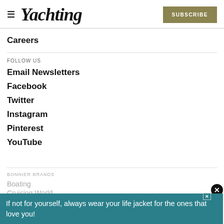Yachting | SUBSCRIBE
Careers
FOLLOW US
Email Newsletters
Facebook
Twitter
Instagram
Pinterest
YouTube
BONNIER BRANDS
Boating
Cruising World
If not for yourself, always wear your life jacket for the ones that love you!